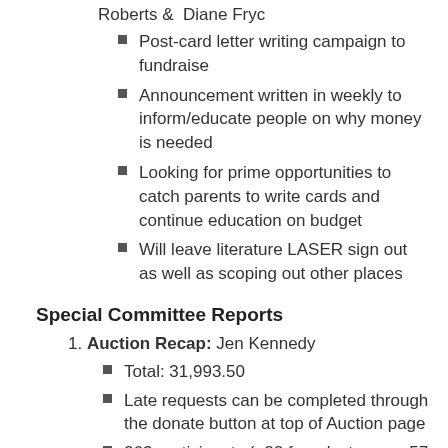Roberts & Diane Fryc
Post-card letter writing campaign to fundraise
Announcement written in weekly to inform/educate people on why money is needed
Looking for prime opportunities to catch parents to write cards and continue education on budget
Will leave literature LASER sign out as well as scoping out other places
Special Committee Reports
Auction Recap: Jen Kennedy
Total: 31,993.50
Late requests can be completed through the donate button at top of Auction page
263 participants (+22 from last year, +57